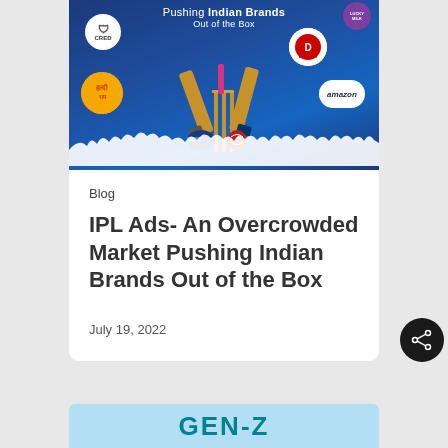[Figure (illustration): Blog article card with dark blue cricket-themed banner showing cricket bats, stumps, helmet, ball, crowd silhouette, and brand logos (CRED, Dabur, Amazon, Haldiram, Lucky Milk). Below the banner is white card content area.]
Blog
IPL Ads- An Overcrowded Market Pushing Indian Brands Out of the Box
July 19, 2022
[Figure (illustration): Partial view of a light blue card at the bottom showing 'GEN-Z' in teal bold letters]